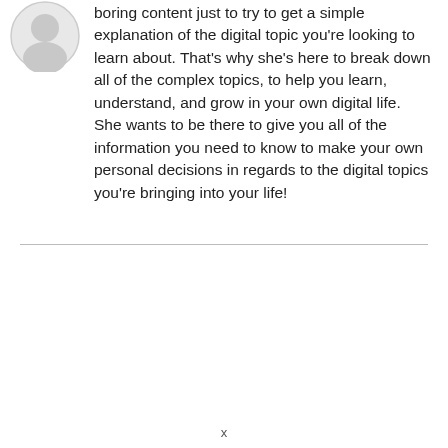[Figure (illustration): Partial circular avatar or profile image placeholder, shown in upper left corner, partially cropped]
boring content just to try to get a simple explanation of the digital topic you're looking to learn about. That's why she's here to break down all of the complex topics, to help you learn, understand, and grow in your own digital life. She wants to be there to give you all of the information you need to know to make your own personal decisions in regards to the digital topics you're bringing into your life!
x